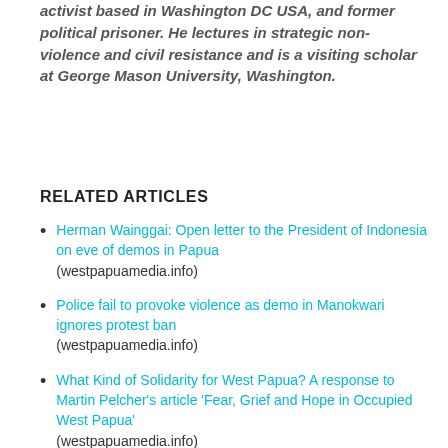activist based in Washington DC USA, and former political prisoner. He lectures in strategic non-violence and civil resistance and is a visiting scholar at George Mason University, Washington.
RELATED ARTICLES
Herman Wainggai: Open letter to the President of Indonesia on eve of demos in Papua (westpapuamedia.info)
Police fail to provoke violence as demo in Manokwari ignores protest ban (westpapuamedia.info)
What Kind of Solidarity for West Papua? A response to Martin Pelcher's article 'Fear, Grief and Hope in Occupied West Papua' (westpapuamedia.info)